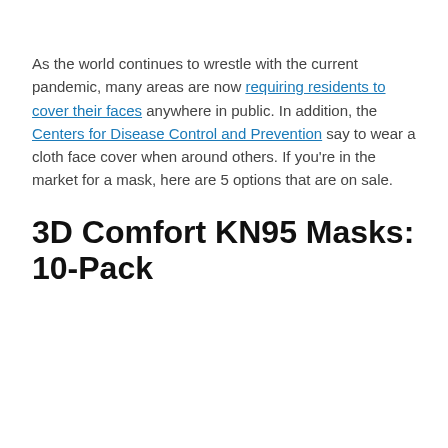As the world continues to wrestle with the current pandemic, many areas are now requiring residents to cover their faces anywhere in public. In addition, the Centers for Disease Control and Prevention say to wear a cloth face cover when around others. If you're in the market for a mask, here are 5 options that are on sale.
3D Comfort KN95 Masks: 10-Pack